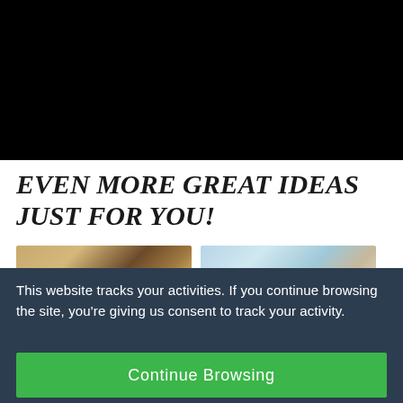[Figure (photo): Black background/banner area filling the top portion of the page]
EVEN MORE GREAT IDEAS JUST FOR YOU!
[Figure (photo): Two food/lifestyle thumbnail images side by side, partially visible]
This website tracks your activities. If you continue browsing the site, you're giving us consent to track your activity.
Continue Browsing